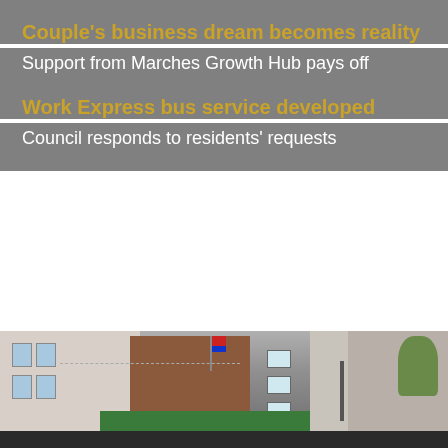Couple's business dream becomes reality
Support from Marches Growth Hub pays off
Work Express bus service developed
Council responds to residents' requests
[Figure (photo): Street scene showing town buildings including a brick building and a shop with a green Abakhan banner; a second partial view of a stone building with trees on the right side.]
We use cookies to ensure that we give you the best experience on our website
Read More
Accept Cookies